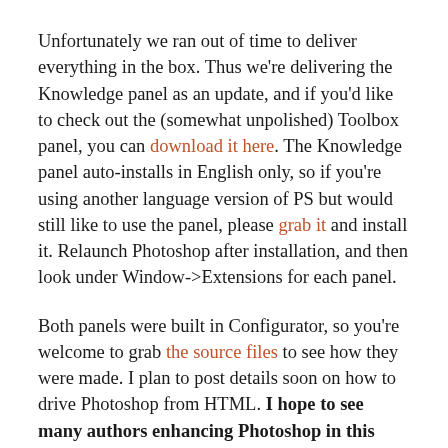Unfortunately we ran out of time to deliver everything in the box. Thus we're delivering the Knowledge panel as an update, and if you'd like to check out the (somewhat unpolished) Toolbox panel, you can download it here. The Knowledge panel auto-installs in English only, so if you're using another language version of PS but would still like to use the panel, please grab it and install it. Relaunch Photoshop after installation, and then look under Window->Extensions for each panel.
Both panels were built in Configurator, so you're welcome to grab the source files to see how they were made. I plan to post details soon on how to drive Photoshop from HTML. I hope to see many authors enhancing Photoshop in this way.
Because of the way the CS5 dev cycle played out, this release offers us a chance to test drive these enhancements